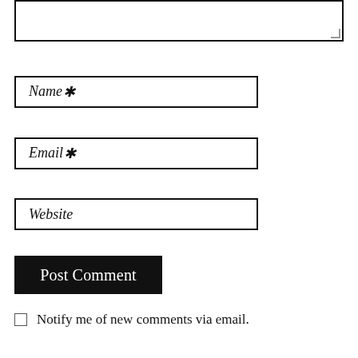[Figure (screenshot): Textarea input box (comment field) with resize handle in bottom-right corner]
Name*
Email*
Website
Post Comment
□ Notify me of new comments via email.